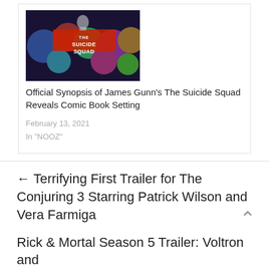[Figure (photo): The Suicide Squad movie promotional image with colorful character art and logo]
Official Synopsis of James Gunn's The Suicide Squad Reveals Comic Book Setting
February 13, 2021
In "NOOZ"
← Terrifying First Trailer for The Conjuring 3 Starring Patrick Wilson and Vera Farmiga
Rick & Mortal Season 5 Trailer: Voltron and